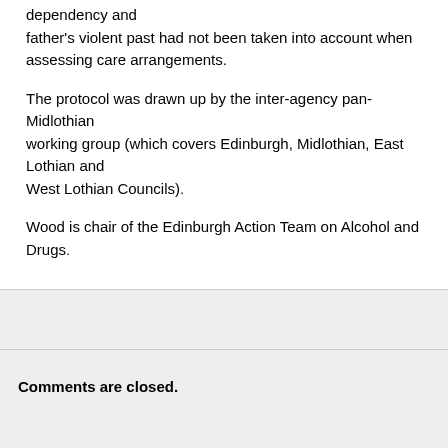dependency and father's violent past had not been taken into account when assessing care arrangements.
The protocol was drawn up by the inter-agency pan-Midlothian working group (which covers Edinburgh, Midlothian, East Lothian and West Lothian Councils).
Wood is chair of the Edinburgh Action Team on Alcohol and Drugs.
Comments are closed.